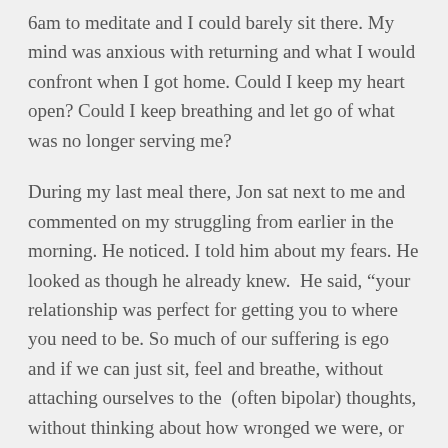6am to meditate and I could barely sit there. My mind was anxious with returning and what I would confront when I got home. Could I keep my heart open? Could I keep breathing and let go of what was no longer serving me?
During my last meal there, Jon sat next to me and commented on my struggling from earlier in the morning. He noticed. I told him about my fears. He looked as though he already knew.  He said, “your relationship was perfect for getting you to where you need to be. So much of our suffering is ego and if we can just sit, feel and breathe, without attaching ourselves to the  (often bipolar) thoughts, without thinking about how wronged we were, or how righteous we are, we can reduce the suffering.”